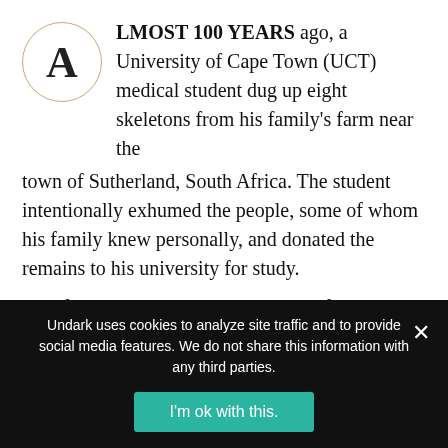ALMOST 100 YEARS ago, a University of Cape Town (UCT) medical student dug up eight skeletons from his family's farm near the town of Sutherland, South Africa. The student intentionally exhumed the people, some of whom his family knew personally, and donated the remains to his university for study.
All of the deceased had gravestones of some kind. The student provided names and information about how some of the individuals had died. He also donated a ninth body,
Undark uses cookies to analyze site traffic and to provide social media features. We do not share this information with any third parties.